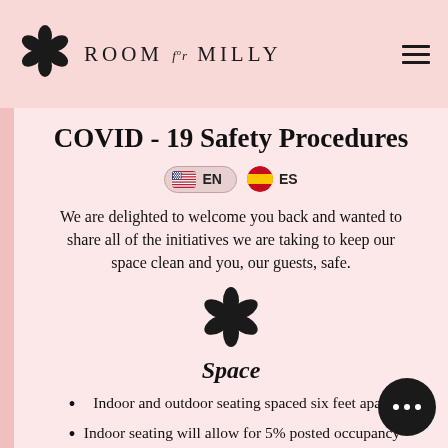ROOM for MILLY
COVID - 19 Safety Procedures
[Figure (other): Language selector buttons: EN (US flag) and ES (Spain flag)]
We are delighted to welcome you back and wanted to share all of the initiatives we are taking to keep our space clean and you, our guests, safe.
[Figure (illustration): Black flower icon / logo decoration]
Space
Indoor and outdoor seating spaced six feet apart
Indoor seating will allow for 5% posted occupancy